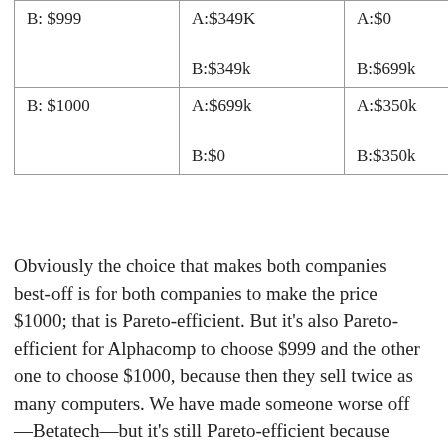| B: $999 | A:$349K

B:$349k | A:$0

B:$699k |
| B: $1000 | A:$699k

B:$0 | A:$350k

B:$350k |
Obviously the choice that makes both companies best-off is for both companies to make the price $1000; that is Pareto-efficient. But it's also Pareto-efficient for Alphacomp to choose $999 and the other one to choose $1000, because then they sell twice as many computers. We have made someone worse off—Betatech—but it's still Pareto-efficient because